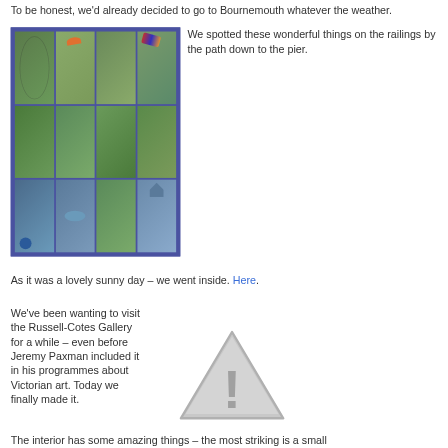To be honest, we'd already decided to go to Bournemouth whatever the weather.
[Figure (photo): A collage of photographs showing colorful decorative items on garden railings, including parasols, a kite, garden art, a blue ball, a blue fish, and a small birdhouse, all mounted on iron railings with greenery.]
We spotted these wonderful things on the railings by the path down to the pier.
As it was a lovely sunny day – we went inside. Here.
We've been wanting to visit the Russell-Cotes Gallery for a while – even before Jeremy Paxman included it in his programmes about Victorian art. Today we finally made it.
[Figure (illustration): A grey triangle warning/caution icon with an exclamation mark, indicating a missing or broken image placeholder.]
The interior has some amazing things – the most striking is a small